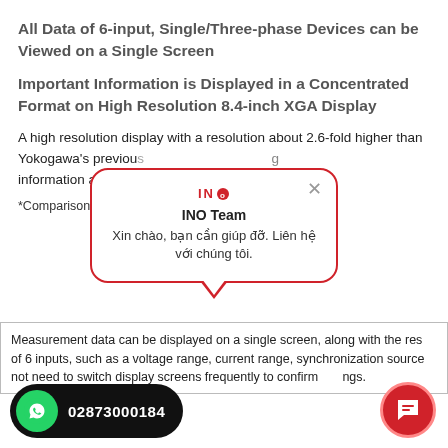All Data of 6-input, Single/Three-phase Devices can be Viewed on a Single Screen
Important Information is Displayed in a Concentrated Format on High Resolution 8.4-inch XGA Display
A high resolution display with a resolution about 2.6-fold higher than Yokogawa's previous g information and measure
*Comparison with Yokogawa
Measurement data can be displayed on a single screen, along with the res of 6 inputs, such as a voltage range, current range, synchronization source not need to switch display screens frequently to confirm ngs.
[Figure (screenshot): INO Team chat popup with red border, logo, team name 'INO Team', message 'Xin chào, bạn cần giúp đỡ. Liên hệ với chúng tôi.' A WhatsApp button with number 02873000184 and a red chat icon button are also visible.]